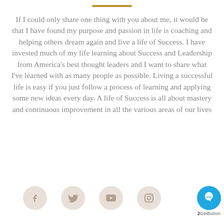If I could only share one thing with you about me, it would be that I have found my purpose and passion in life is coaching and helping others dream again and live a life of Success. I have invested much of my life learning about Success and Leadership from America's best thought leaders and I want to share what I've learned with as many people as possible. Living a successful life is easy if you just follow a process of learning and applying some new ideas every day. A life of Success is all about mastery and continuous improvement in all the various areas of our lives
[Figure (other): Social media icons row: Facebook, Twitter, YouTube, Instagram circles; plus GetButton chat widget in bottom right]